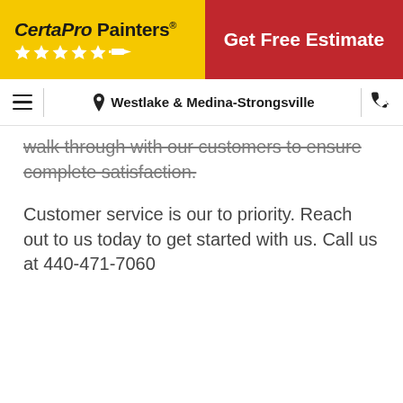CertaPro Painters® | Get Free Estimate
Westlake & Medina-Strongsville
walk through with our customers to ensure complete satisfaction.
Customer service is our to priority. Reach out to us today to get started with us. Call us at 440-471-7060